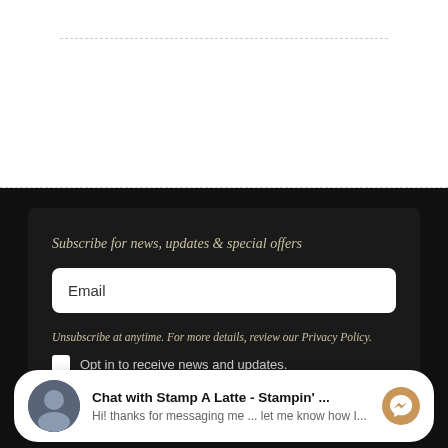Subscribe for news, updates & special offers
Email
Unsubscribe at anytime. For more details, review our Privacy Policy.
Opt in to receive news and updates.
Chat with Stamp A Latte - Stampin' ...
Hi! thanks for messaging me ... let me know how I...